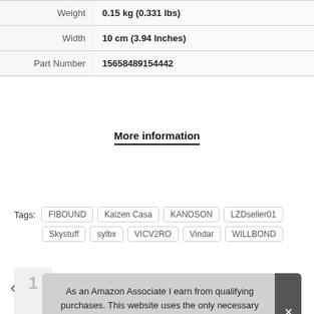| Weight | 0.15 kg (0.331 lbs) |
| Width | 10 cm (3.94 Inches) |
| Part Number | 15658489154442 |
More information
Tags: FIBOUND  Kaizen Casa  KANOSON  LZDseller01  Skystuff  sylbx  VICV2RO  Vindar  WILLBOND
As an Amazon Associate I earn from qualifying purchases. This website uses the only necessary cookies to ensure you get the best experience on our website. More information